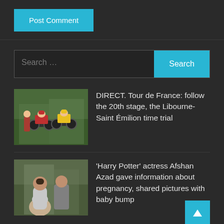Post Comment
[Figure (screenshot): Search bar with text 'Search ...' and a cyan 'Search' button]
[Figure (photo): Photo of cyclists in Tour de France, one in yellow jersey]
DIRECT. Tour de France: follow the 20th stage, the Libourne-Saint Émilion time trial
[Figure (photo): Photo of pregnant woman outdoors, Harry Potter actress Afshan Azad]
'Harry Potter' actress Afshan Azad gave information about pregnancy, shared pictures with baby bump